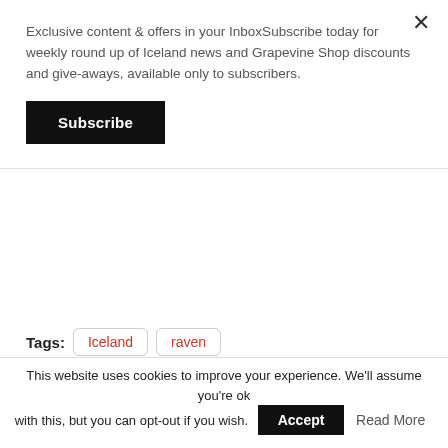Exclusive content & offers in your InboxSubscribe today for weekly round up of Iceland news and Grapevine Shop discounts and give-aways, available only to subscribers.
Subscribe
Tags: Iceland  raven
Next: Homemade Plane Landed On Þingvallavatn's Frozen Surface In March
Previous: deCODE Rejoins Border Screening Initiative To Relieve Pressure On Landspítali
This website uses cookies to improve your experience. We'll assume you're ok with this, but you can opt-out if you wish.  Accept  Read More